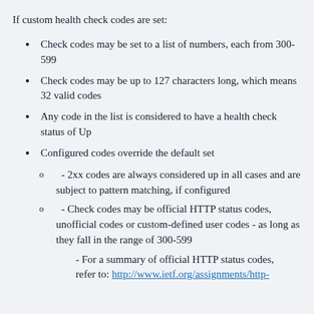If custom health check codes are set:
Check codes may be set to a list of numbers, each from 300-599
Check codes may be up to 127 characters long, which means 32 valid codes
Any code in the list is considered to have a health check status of Up
Configured codes override the default set
- 2xx codes are always considered up in all cases and are subject to pattern matching, if configured
- Check codes may be official HTTP status codes, unofficial codes or custom-defined user codes - as long as they fall in the range of 300-599
- For a summary of official HTTP status codes, refer to: http://www.ietf.org/assignments/http-...